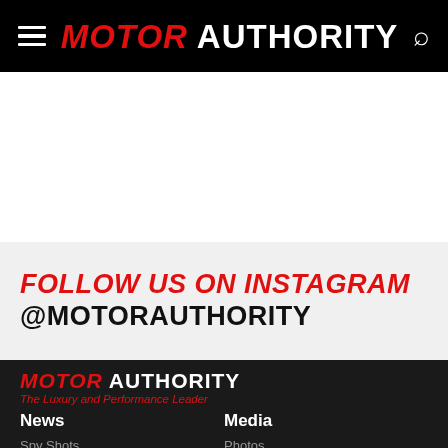MOTOR AUTHORITY
FOLLOW US ON INSTAGRAM @MOTORAUTHORITY
[Figure (logo): Motor Authority logo with MOTOR in red italic and AUTHORITY in white, with tagline The Luxury and Performance Leader]
News
Spy Shots
Super Cars
Videos
Concept Cars
Media
Photos
Videos
RSS